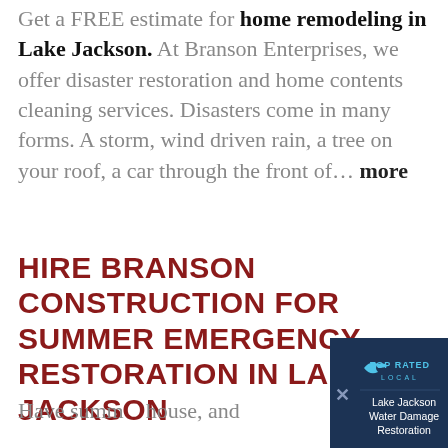Get a FREE estimate for home remodeling in Lake Jackson. At Branson Enterprises, we offer disaster restoration and home contents cleaning services. Disasters come in many forms. A storm, wind driven rain, a tree on your roof, a car through the front of... more
HIRE BRANSON CONSTRUCTION FOR SUMMER EMERGENCY RESTORATION IN LAKE JACKSON
Have summ... house, and...
[Figure (screenshot): Dark blue overlay banner in bottom-right corner showing a close (X) button, Top Rated Local logo with bird icon, and text 'Lake Jackson Water Damage Restoration']